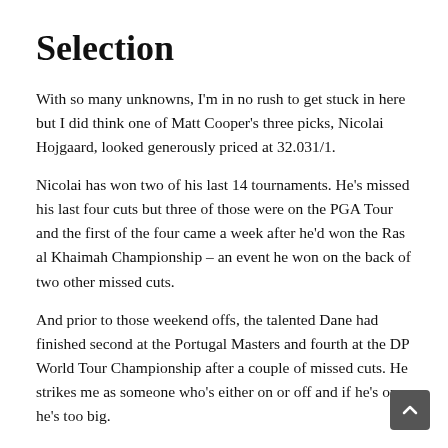Selection
With so many unknowns, I'm in no rush to get stuck in here but I did think one of Matt Cooper's three picks, Nicolai Hojgaard, looked generously priced at 32.031/1.
Nicolai has won two of his last 14 tournaments. He's missed his last four cuts but three of those were on the PGA Tour and the first of the four came a week after he'd won the Ras al Khaimah Championship – an event he won on the back of two other missed cuts.
And prior to those weekend offs, the talented Dane had finished second at the Portugal Masters and fourth at the DP World Tour Championship after a couple of missed cuts. He strikes me as someone who's either on or off and if he's on, he's too big.
I'll have a few picks here for the Find Me a 100 Winner column tomorrow once the draws been made but for now I'm happy to go with just Nicolai who did me a favour at the Ras al Khaimah Championship when winning at 40.039/1.